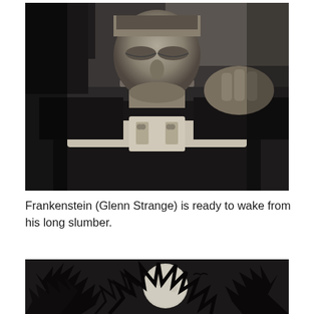[Figure (photo): Black and white film still of Frankenstein's monster (played by Glenn Strange) lying back with eyes closed and head tilted up, restrained by a wide leather strap across his chest. The monster has the iconic flat-top head and neck bolts.]
Frankenstein (Glenn Strange) is ready to wake from his long slumber.
[Figure (photo): Black and white film still showing bare tree branches silhouetted against a night sky with a large full moon visible through the branches.]